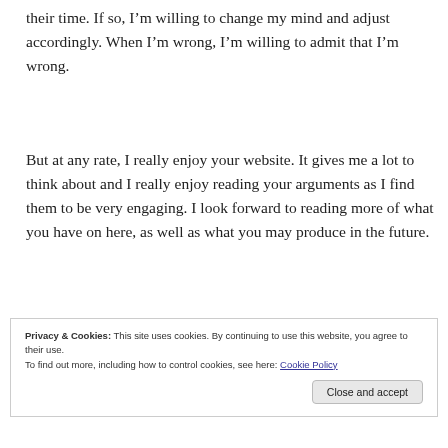their time. If so, I'm willing to change my mind and adjust accordingly. When I'm wrong, I'm willing to admit that I'm wrong.
But at any rate, I really enjoy your website. It gives me a lot to think about and I really enjoy reading your arguments as I find them to be very engaging. I look forward to reading more of what you have on here, as well as what you may produce in the future.
Privacy & Cookies: This site uses cookies. By continuing to use this website, you agree to their use. To find out more, including how to control cookies, see here: Cookie Policy